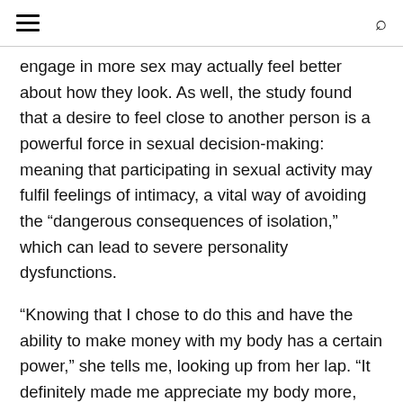≡   🔍
engage in more sex may actually feel better about how they look. As well, the study found that a desire to feel close to another person is a powerful force in sexual decision-making: meaning that participating in sexual activity may fulfil feelings of intimacy, a vital way of avoiding the “dangerous consequences of isolation,” which can lead to severe personality dysfunctions.
“Knowing that I chose to do this and have the ability to make money with my body has a certain power,” she tells me, looking up from her lap. “It definitely made me appreciate my body more, too.”
While it isn’t completely gone, Marcus says that being